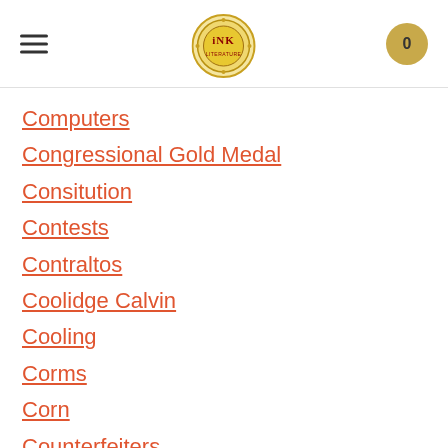Navigation menu with logo and cart
Computers
Congressional Gold Medal
Consitution
Contests
Contraltos
Coolidge Calvin
Cooling
Corms
Corn
Counterfeiters
Covid-19
Crocodiles
Cryptography
Culture
Darwin Charles